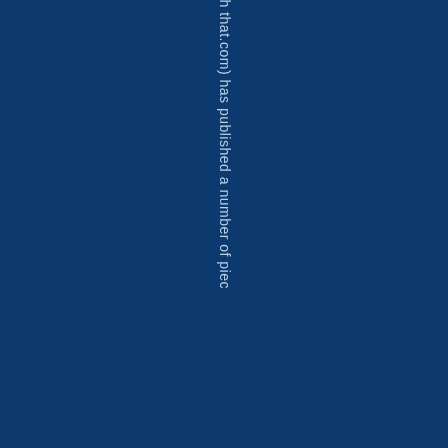(watsup with that.com) has published a number of piec